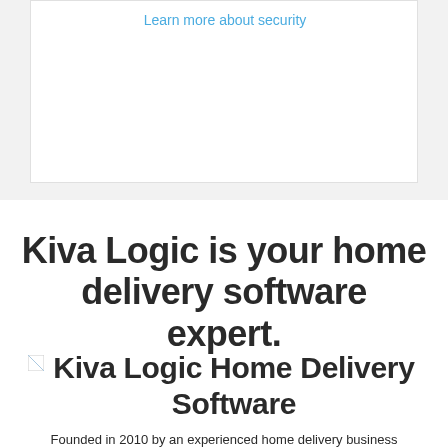Learn more about security
[Figure (screenshot): White card area with 'Learn more about security' link at top]
Kiva Logic is your home delivery software expert.
[Figure (logo): Kiva Logic Home Delivery Software logo image (broken/placeholder)]
Kiva Logic Home Delivery Software
Founded in 2010 by an experienced home delivery business